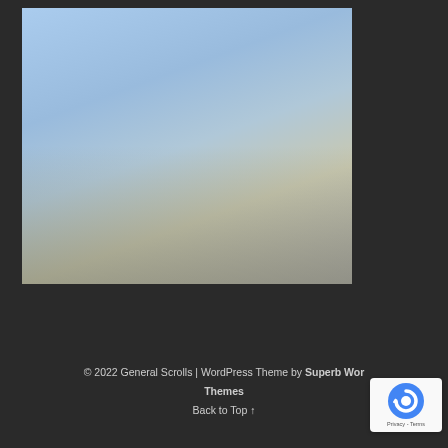[Figure (photo): 3x3 grid of photos: Row 1: career concept chalkboard diagram, purple concert with neon rectangle, colorful concert crowd. Row 2: classroom interior, group of three smiling professionals, colorful cocktail drinks. Row 3: fire performer on stage, hands using calculator with financial documents, team group photo outdoors.]
© 2022 General Scrolls | WordPress Theme by Superb Wor
ld Themes
Back to Top ↑